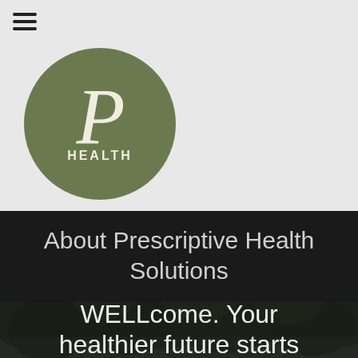[Figure (logo): Prescriptive Health circular logo with olive green background, stylized italic P in cream color, and HEALTH text below]
About Prescriptive Health Solutions
[Figure (photo): Outdoor nature scene with green trees and foliage]
WELLcome. Your healthier future starts